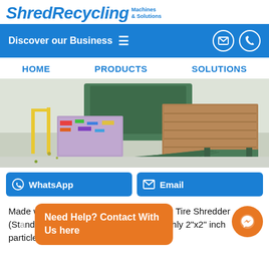ShredRecycling Machines & Solutions
Discover our Business
HOME   PRODUCTS   SOLUTIONS
[Figure (photo): Industrial recycling facility interior showing baled compressed waste materials (plastic and cardboard bales) on a concrete floor next to a green baling machine and a green loading ramp.]
WhatsApp
Email
Made with Padlet Tire S... the basic Tire Shredder (St... designed to cut tires into roughly 2"x2" inch particles for the Tire
Need Help? Contact With Us here